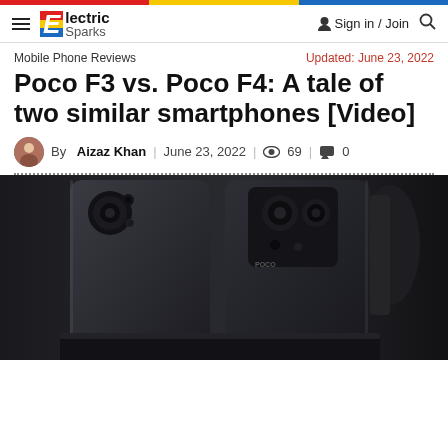Electric Sparks — Sign in / Join
Mobile Phone Reviews
Updated: June 23, 2022
Poco F3 vs. Poco F4: A tale of two similar smartphones [Video]
By Aizaz Khan | June 23, 2022 | 69 views | 0 comments
[Figure (photo): Two Poco smartphones (Poco F3 and Poco F4) photographed from behind, side by side, against a dark blurred background. Both phones are dark-colored; the left phone has a circular camera module and the right phone has a rectangular camera module.]